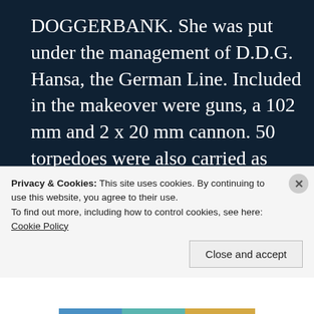DOGGERBANK.  She was put under the management of D.D.G. Hansa, the German Line.  Included in the makeover were guns, a 102 mm and 2 x 20 mm cannon.  50 torpedoes were also carried as spares for the U boat fleet, and the speed was set at 11 kts – this provided by the original 6 cylinder, 2300HP. engine.

The Kriegsmarine staff apparantely
Privacy & Cookies: This site uses cookies. By continuing to use this website, you agree to their use.
To find out more, including how to control cookies, see here: Cookie Policy
Close and accept